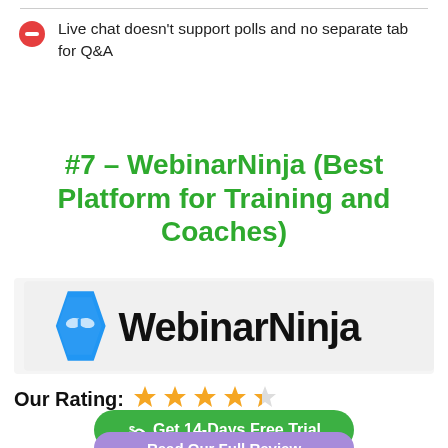Live chat doesn't support polls and no separate tab for Q&A
#7 – WebinarNinja (Best Platform for Training and Coaches)
[Figure (logo): WebinarNinja logo with blue diamond ninja mask icon and bold black WebinarNinja text on light grey background]
Our Rating: ★★★★☆
Get 14-Days Free Trial